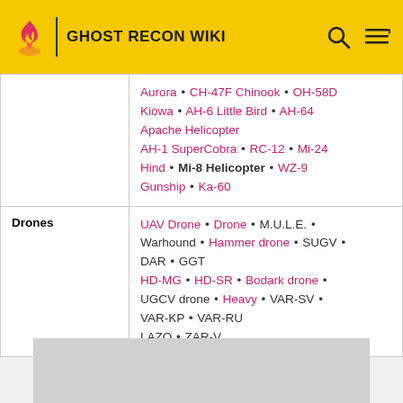GHOST RECON WIKI
|  | Aurora • CH-47F Chinook • OH-58D Kiowa • AH-6 Little Bird • AH-64 Apache Helicopter AH-1 SuperCobra • RC-12 • Mi-24 Hind • Mi-8 Helicopter • WZ-9 Gunship • Ka-60 |
| Drones | UAV Drone • Drone • M.U.L.E. • Warhound • Hammer drone • SUGV • DAR • GGT HD-MG • HD-SR • Bodark drone • UGCV drone • Heavy • VAR-SV • VAR-KP • VAR-RU LAZO • ZAR-V |